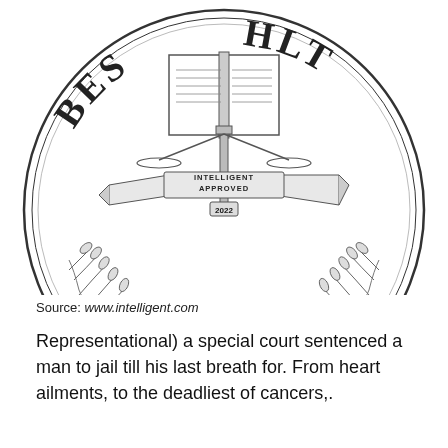[Figure (logo): Circular seal/badge with text 'BEST', 'HLT', 'INTELLIGENT APPROVED', '2022' on banner, laurel branches, and '• 2022 •' at bottom. Partially cropped at top.]
Source: www.intelligent.com
Representational) a special court sentenced a man to jail till his last breath for. From heart ailments, to the deadliest of cancers,.